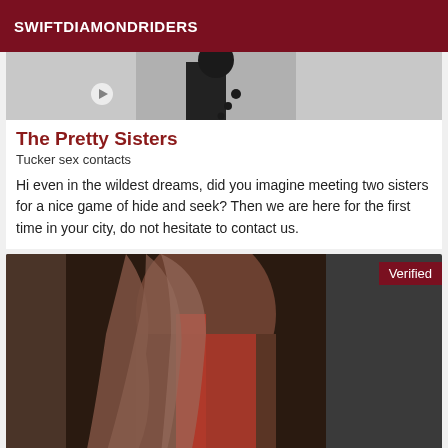SWIFTDIAMONDRIDERS
[Figure (photo): Top portion of a photo showing dark clothing/accessories against light background, with a small circular icon overlay]
The Pretty Sisters
Tucker sex contacts
Hi even in the wildest dreams, did you imagine meeting two sisters for a nice game of hide and seek? Then we are here for the first time in your city, do not hesitate to contact us.
[Figure (photo): Photo of a dark-skinned woman with long wavy hair wearing a red outfit, photographed from behind/side against a dark background. Has a 'Verified' badge in top right corner.]